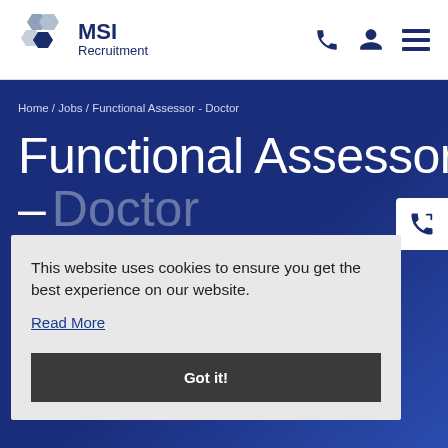[Figure (logo): MSI Recruitment logo with hexagon icons and company name]
Home / Jobs / Functional Assessor - Doctor
Functional Assessor – Doctor
This website uses cookies to ensure you get the best experience on our website.
Read More
Got it!